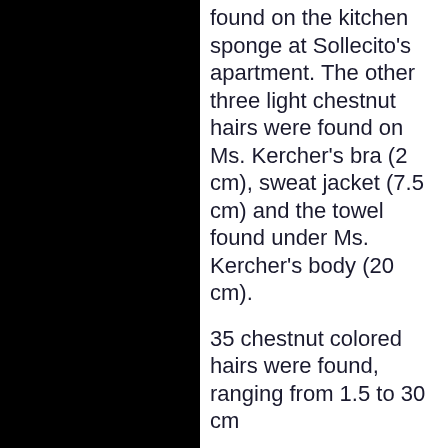found on the kitchen sponge at Sollecito's apartment. The other three light chestnut hairs were found on Ms. Kercher's bra (2 cm), sweat jacket (7.5 cm) and the towel found under Ms. Kercher's body (20 cm).
35 chestnut colored hairs were found, ranging from 1.5 to 30 cm